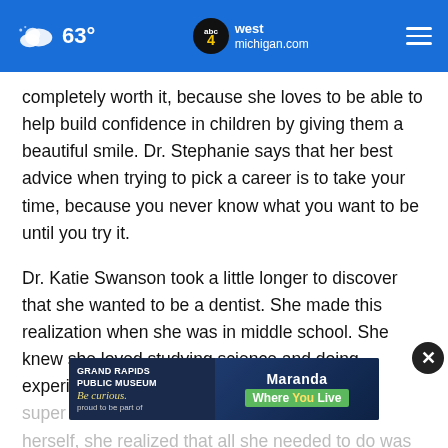63° | abc4 west michigan.com
completely worth it, because she loves to be able to help build confidence in children by giving them a beautiful smile. Dr. Stephanie says that her best advice when trying to pick a career is to take your time, because you never know what you want to be until you try it.
Dr. Katie Swanson took a little longer to discover that she wanted to be a dentist. She made this realization when she was in middle school. She knew she loved studying science and doing experiments, but she was super [ad overlay] herself, she realized that all she needed to do was
[Figure (screenshot): Advertisement banner: Grand Rapids Public Museum - Be curious. Maranda Where You Live. proud to be part of.]